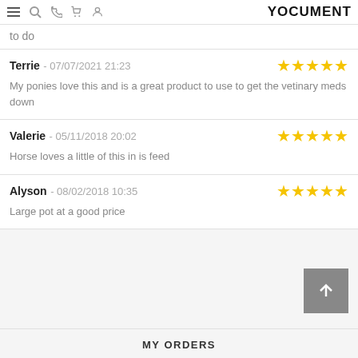navigation icons and logo
to do
Terrie - 07/07/2021 21:23 ★★★★★
My ponies love this and is a great product to use to get the vetinary meds down
Valerie - 05/11/2018 20:02 ★★★★★
Horse loves a little of this in is feed
Alyson - 08/02/2018 10:35 ★★★★★
Large pot at a good price
MY ORDERS